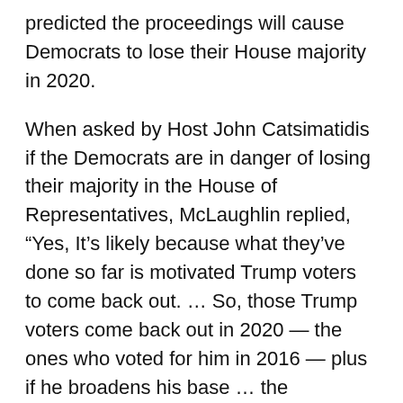predicted the proceedings will cause Democrats to lose their House majority in 2020.
When asked by Host John Catsimatidis if the Democrats are in danger of losing their majority in the House of Representatives, McLaughlin replied, “Yes, It’s likely because what they’ve done so far is motivated Trump voters to come back out. … So, those Trump voters come back out in 2020 — the ones who voted for him in 2016 — plus if he broadens his base … the Republicans only need 20 seats to retake the House, and there are already 30 endangered Democrats in those seats. So, it could happen.”
McLaughlin added that former Vice President Joe Biden was also a big loser in the trial as